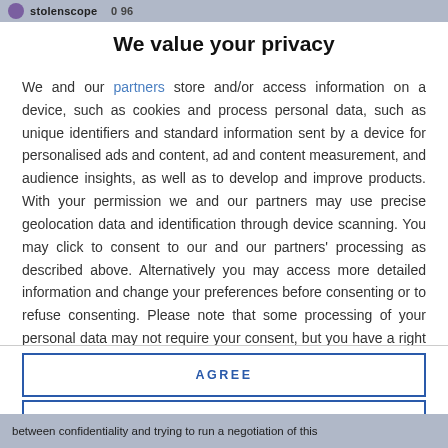stolenscope  0 96
We value your privacy
We and our partners store and/or access information on a device, such as cookies and process personal data, such as unique identifiers and standard information sent by a device for personalised ads and content, ad and content measurement, and audience insights, as well as to develop and improve products. With your permission we and our partners may use precise geolocation data and identification through device scanning. You may click to consent to our and our partners' processing as described above. Alternatively you may access more detailed information and change your preferences before consenting or to refuse consenting. Please note that some processing of your personal data may not require your consent, but you have a right to
AGREE
MORE OPTIONS
between confidentiality and trying to run a negotiation of this